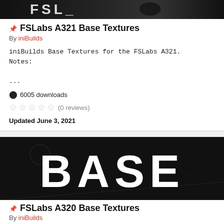[Figure (screenshot): Cropped top image showing FSLabs A321 aircraft textures, dark background]
FSLabs A321 Base Textures
By iniBuilds
iniBuilds Base Textures for the FSLabs A321.
Notes:
...
6005 downloads
(0 reviews)
Updated June 3, 2021
[Figure (screenshot): Dark cockpit background with large white bold text 'BASE' overlaid]
FSLabs A320 Base Textures
By iniBuilds